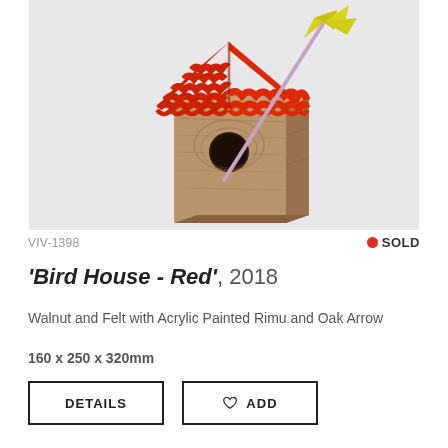[Figure (photo): A wooden birdhouse with a red felt scalloped roof, mounted on a wall. A yellow and pink arrow pierces diagonally through the roof and out the entry hole of the birdhouse. The birdhouse is made of natural walnut wood with visible grain.]
VIV-1398
● SOLD
'Bird House - Red', 2018
Walnut and Felt with Acrylic Painted Rimu and Oak Arrow
160 x 250 x 320mm
DETAILS
♡ ADD